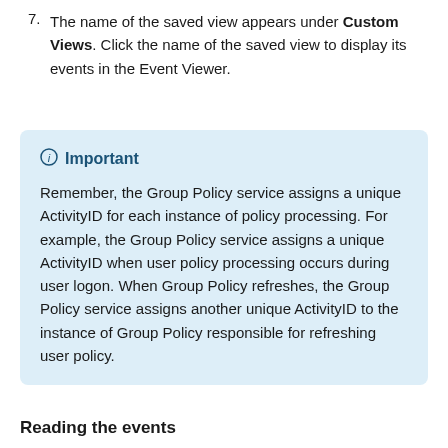7. The name of the saved view appears under Custom Views. Click the name of the saved view to display its events in the Event Viewer.
Important
Remember, the Group Policy service assigns a unique ActivityID for each instance of policy processing. For example, the Group Policy service assigns a unique ActivityID when user policy processing occurs during user logon. When Group Policy refreshes, the Group Policy service assigns another unique ActivityID to the instance of Group Policy responsible for refreshing user policy.
Reading the events